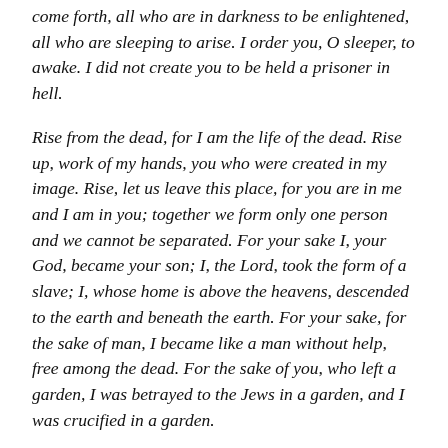come forth, all who are in darkness to be enlightened, all who are sleeping to arise. I order you, O sleeper, to awake. I did not create you to be held a prisoner in hell.
Rise from the dead, for I am the life of the dead. Rise up, work of my hands, you who were created in my image. Rise, let us leave this place, for you are in me and I am in you; together we form only one person and we cannot be separated. For your sake I, your God, became your son; I, the Lord, took the form of a slave; I, whose home is above the heavens, descended to the earth and beneath the earth. For your sake, for the sake of man, I became like a man without help, free among the dead. For the sake of you, who left a garden, I was betrayed to the Jews in a garden, and I was crucified in a garden.
See on my face the spittle I received in order to restore to you the life I once breathed into you. See there the marks of